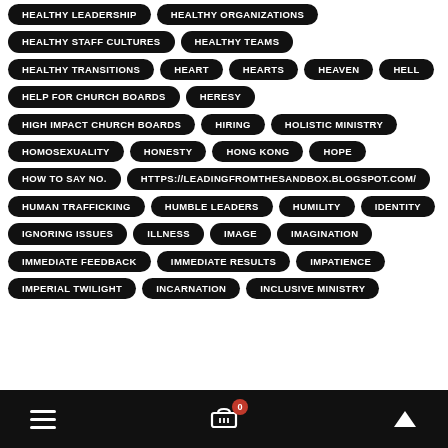HEALTHY LEADERSHIP
HEALTHY ORGANIZATIONS
HEALTHY STAFF CULTURES
HEALTHY TEAMS
HEALTHY TRANSITIONS
HEART
HEARTS
HEAVEN
HELL
HELP FOR CHURCH BOARDS
HERESY
HIGH IMPACT CHURCH BOARDS
HIRING
HOLISTIC MINISTRY
HOMOSEXUALITY
HONESTY
HONG KONG
HOPE
HOW TO SAY NO.
HTTPS://LEADINGFROMTHESANDBOX.BLOGSPOT.COM/
HUMAN TRAFFICKING
HUMBLE LEADERS
HUMILITY
IDENTITY
IGNORING ISSUES
ILLNESS
IMAGE
IMAGINATION
IMMEDIATE FEEDBACK
IMMEDIATE RESULTS
IMPATIENCE
IMPERIAL TWILIGHT
INCARNATION
INCLUSIVE MINISTRY
≡  🛒 0  ∧